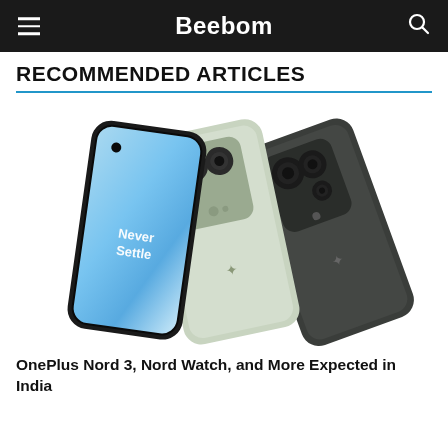Beebom
RECOMMENDED ARTICLES
[Figure (photo): Three OnePlus Nord 3 smartphones shown from different angles — front view showing screen with 'Never Settle' text, and two rear views in green and dark grey colors showing camera modules]
OnePlus Nord 3, Nord Watch, and More Expected in India